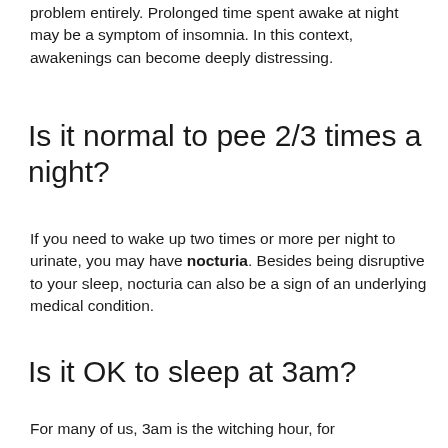problem entirely. Prolonged time spent awake at night may be a symptom of insomnia. In this context, awakenings can become deeply distressing.
Is it normal to pee 2/3 times a night?
If you need to wake up two times or more per night to urinate, you may have nocturia. Besides being disruptive to your sleep, nocturia can also be a sign of an underlying medical condition.
Is it OK to sleep at 3am?
For many of us, 3am is the witching hour, for